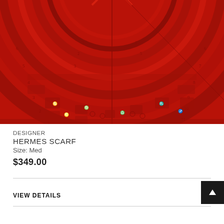[Figure (photo): Close-up photograph of a red Hermes scarf with intricate circular pattern featuring a sun motif, zodiac-like rings with Latin text 'DIES ET HORE' and decorative figures on red silk fabric.]
DESIGNER
HERMES SCARF
Size: Med
$349.00
VIEW DETAILS